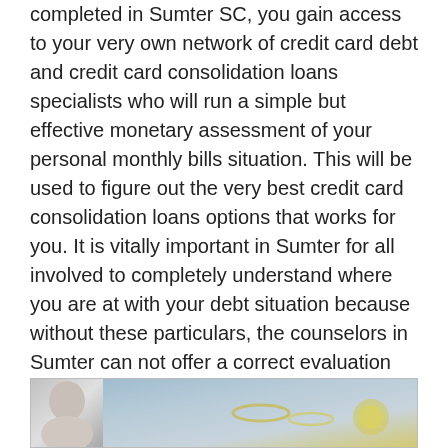completed in Sumter SC, you gain access to your very own network of credit card debt and credit card consolidation loans specialists who will run a simple but effective monetary assessment of your personal monthly bills situation. This will be used to figure out the very best credit card consolidation loans options that works for you. It is vitally important in Sumter for all involved to completely understand where you are at with your debt situation because without these particulars, the counselors in Sumter can not offer a correct evaluation and determine what is the best customized Sumter SC debt consolidation program that gets you out of your trial while putting extra cash in your pocket with debt consolidation at the same time. By finishing this free debt consultation, the credit card consolidation loans team will be able to assist you save thousands in Sumter in interest and possibly principal amounts as well in Sumter SC.
[Figure (photo): Partial view of a person and financial/debt related imagery on a blue background, partially visible at the bottom of the page]